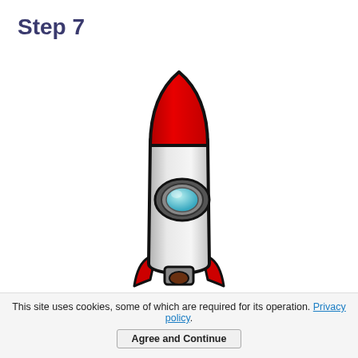Step 7
[Figure (illustration): A cartoon-style rocket ship illustration. The rocket has a red pointed nose cone at the top, a white/light gray cylindrical body in the middle with a circular porthole window (dark gray rim with cyan/teal interior), and red fins at the bottom with a dark gray engine nozzle. The rocket is outlined in thick black lines.]
This site uses cookies, some of which are required for its operation. Privacy policy.
Agree and Continue